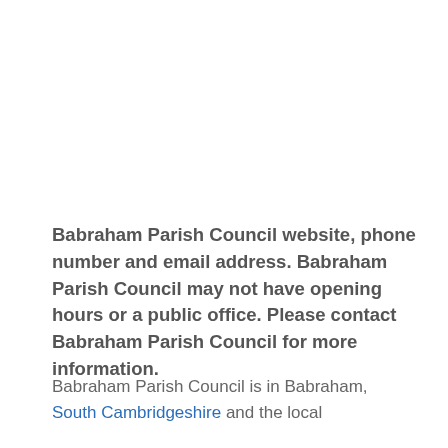Babraham Parish Council website, phone number and email address. Babraham Parish Council may not have opening hours or a public office. Please contact Babraham Parish Council for more information.
Babraham Parish Council is in Babraham, South Cambridgeshire and the local